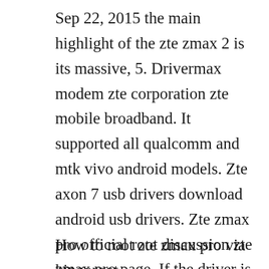Sep 22, 2015 the main highlight of the zte zmax 2 is its massive, 5. Drivermax modem zte corporation zte mobile broadband. It supported all qualcomm and mtk vivo android models. Zte axon 7 usb drivers download android usb drivers. Zte zmax pro official root discussion zte zmax pro page. If the driver is already installed on your system, updating overwriteinstalling may fix various issues, add new functions, or just upgrade to the available version.
How to root zte zmax pro via kingoroot